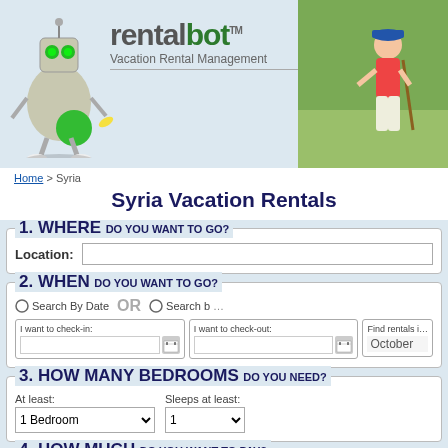[Figure (logo): RentalBot Vacation Rental Management logo with robot mascot and golfer photo]
Home > Syria
Syria Vacation Rentals
1. WHERE DO YOU WANT TO GO?
Location:
2. WHEN DO YOU WANT TO GO?
Search By Date | OR | Search by... | I want to check-in: | I want to check-out: | Find rentals in October
3. HOW MANY BEDROOMS DO YOU NEED?
At least: 1 Bedroom | Sleeps at least: 1
4. HOW MUCH DO YOU WANT TO PAY?